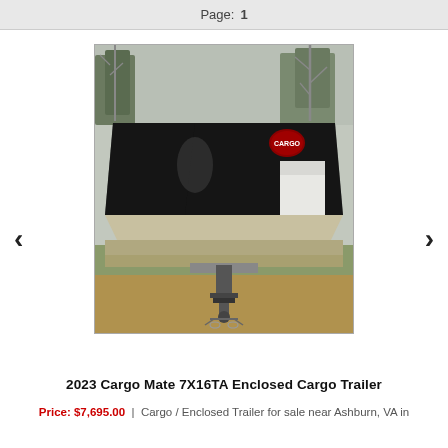Page: 1
[Figure (photo): Front view of a black 2023 Cargo Mate 7X16TA Enclosed Cargo Trailer parked on a grassy/gravel lot with bare trees in the background. The trailer has a black front panel with a logo badge, silver/aluminum lower trim, a front jack stand, and a ball hitch coupler. Navigation arrows (left and right) are visible on the sides of the image.]
2023 Cargo Mate 7X16TA Enclosed Cargo Trailer
Price: $7,695.00  | Cargo / Enclosed Trailer for sale near Ashburn, VA in